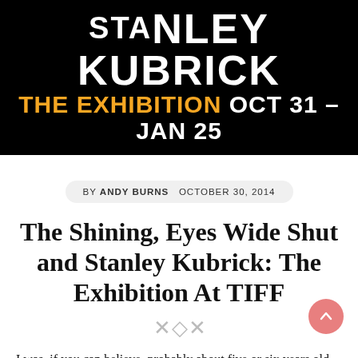[Figure (other): Black banner with 'STANLEY KUBRICK THE EXHIBITION OCT 31 – JAN 25' text, 'THE EXHIBITION' in gold/yellow and 'OCT 31 – JAN 25' in white, 'STANLEY KUBRICK' in large white bold letters]
BY ANDY BURNS   OCTOBER 30, 2014
The Shining, Eyes Wide Shut and Stanley Kubrick: The Exhibition At TIFF
I was, if you can believe, probably about five or six years old the last time I set eyes on a